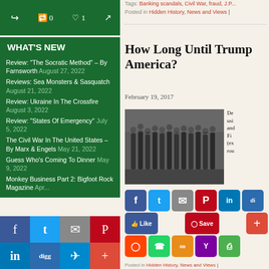WHAT'S NEW
Review: “The Socratic Method” – By Farnsworth August 27, 2022
Reviews: Sea Monsters & Sasquatch August 21, 2022
Review: Ukraine In The Crossfire August 3, 2022
Review: “States Of Emergency” July 5, 2022
The Civil War In The United States – By Marx & Engels May 21, 2022
Guess Who’s Coming To Dinner May 9, 2022
Monkey Business Part 2: Bigfoot Rock Magazine...
Tags: Banking scandals, Civil War, fraud, J.P... Posted in Hidden History, News and Views |
How Long Until Trump... America?
February 19, 2017
[Figure (photo): Black and white photograph of soldiers or military troops marching in a street, historic photo]
De... usi... and... Fi... (ex... rou...
Posted in Hidden History, News and Views |